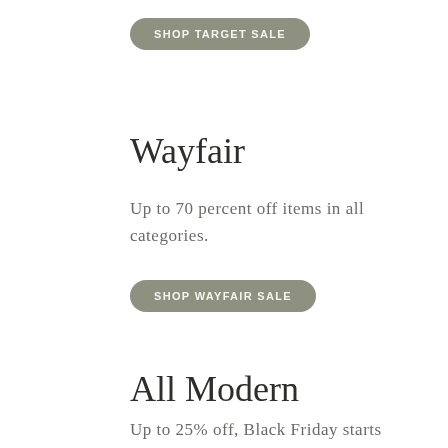SHOP TARGET SALE
Wayfair
Up to 70 percent off items in all categories.
SHOP WAYFAIR SALE
All Modern
Up to 25% off, Black Friday starts now! A variety of Sale and Closeout